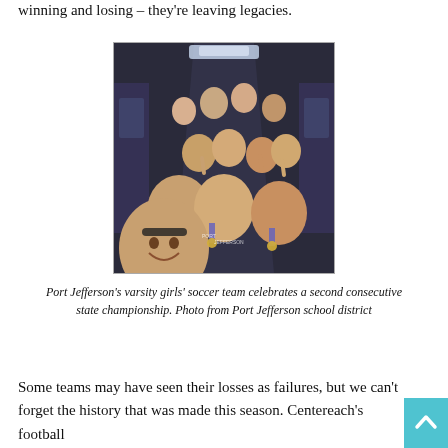winning and losing – they're leaving legacies.
[Figure (photo): Port Jefferson varsity girls' soccer team celebrating on a bus/train, smiling and holding up fingers, wearing medals and Port Jefferson shirts/sweatshirts.]
Port Jefferson's varsity girls' soccer team celebrates a second consecutive state championship. Photo from Port Jefferson school district
Some teams may have seen their losses as failures, but we can't forget the history that was made this season. Centereach's football